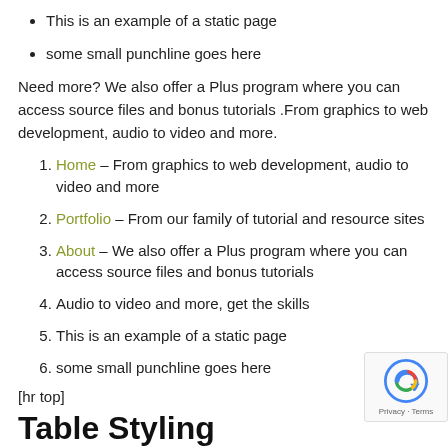This is an example of a static page
some small punchline goes here
Need more? We also offer a Plus program where you can access source files and bonus tutorials .From graphics to web development, audio to video and more.
Home – From graphics to web development, audio to video and more
Portfolio – From our family of tutorial and resource sites
About – We also offer a Plus program where you can access source files and bonus tutorials
Audio to video and more, get the skills
This is an example of a static page
some small punchline goes here
[hr top]
Table Styling